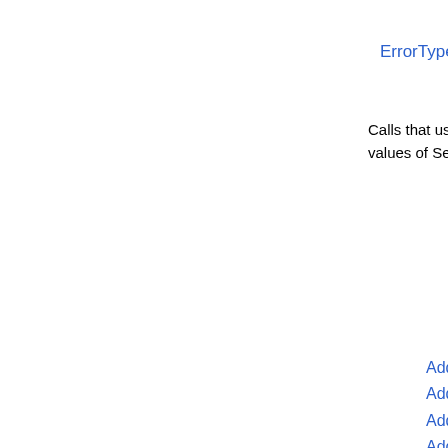ErrorType
Calls that use one or more values of SeverityCodeType:
AddDispute,
AddDisputeRes…
AddFixedPriceI…
AddItem,
AddItems,
AddMemberMe…
AddMemberMe…
AddMemberMe…
AddOrder,
AddSecondCha…
AddToItemDesc…
AddToWatchLis…
AddTransaction…
CompleteSale,
ConfirmIdentity…